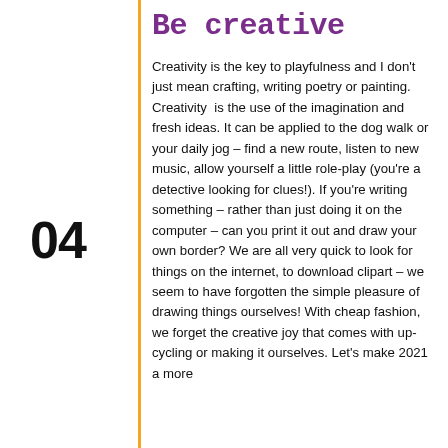Be creative
Creativity is the key to playfulness and I don't just mean crafting, writing poetry or painting. Creativity  is the use of the imagination and fresh ideas. It can be applied to the dog walk or your daily jog – find a new route, listen to new music, allow yourself a little role-play (you're a detective looking for clues!). If you're writing something – rather than just doing it on the computer – can you print it out and draw your own border? We are all very quick to look for things on the internet, to download clipart – we seem to have forgotten the simple pleasure of drawing things ourselves! With cheap fashion, we forget the creative joy that comes with up-cycling or making it ourselves. Let's make 2021 a more